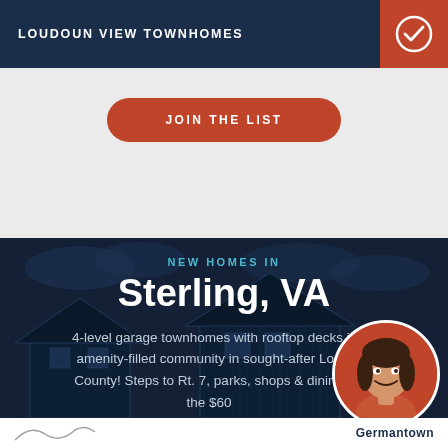LOUDOUN VIEW TOWNHOMES
[Figure (illustration): Checkmark icon in orange square]
[Figure (photo): Button on light gray background: JOIN THE LIST]
[Figure (photo): Dark navy background with house silhouette and real estate marketing overlay]
NEW HOMES IN
Sterling, VA
4-level garage townhomes with rooftop decks in an amenity-filled community in sought-after Loudoun County! Steps to Rt. 7, parks, shops & dining from the $600s
[Figure (photo): Circular portrait of female real estate agent smiling]
Germantown